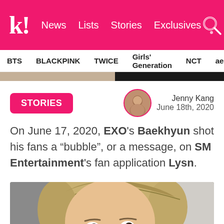k! News Lists Stories Exclusives
BTS BLACKPINK TWICE Girls' Generation NCT aespa
[Figure (photo): Cropped images strip - beige/tan colored background on left half and dark/black on right half]
STORIES
Jenny Kang June 18th, 2020
On June 17, 2020, EXO's Baekhyun shot his fans a “bubble”, or a message, on SM Entertainment's fan application Lysn.
[Figure (photo): Close-up photo of a young man (Baekhyun from EXO) with light brown/blonde hair, dark eyes, looking sideways at the camera]